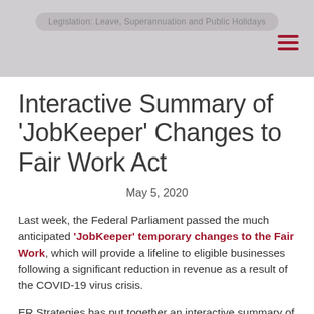Legislation: Leave, Superannuation and Public Holidays
Interactive Summary of 'JobKeeper' Changes to Fair Work Act
May 5, 2020
Last week, the Federal Parliament passed the much anticipated 'JobKeeper' temporary changes to the Fair Work, which will provide a lifeline to eligible businesses following a significant reduction in revenue as a result of the COVID-19 virus crisis.
ER Strategies has put together an interactive summary of the legislation, breaking down the changes to the Fair Work Act which will apply to employers eligible for payments under the